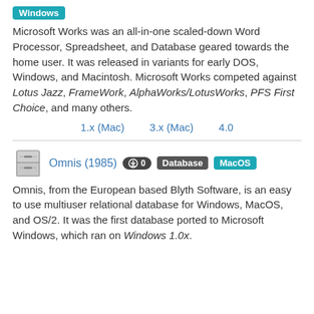Windows
Microsoft Works was an all-in-one scaled-down Word Processor, Spreadsheet, and Database geared towards the home user. It was released in variants for early DOS, Windows, and Macintosh. Microsoft Works competed against Lotus Jazz, FrameWork, AlphaWorks/LotusWorks, PFS First Choice, and many others.
1.x (Mac)   3.x (Mac)   4.0
Omnis (1985)  0  Database  MacOS
Omnis, from the European based Blyth Software, is an easy to use multiuser relational database for Windows, MacOS, and OS/2. It was the first database ported to Microsoft Windows, which ran on Windows 1.0x.